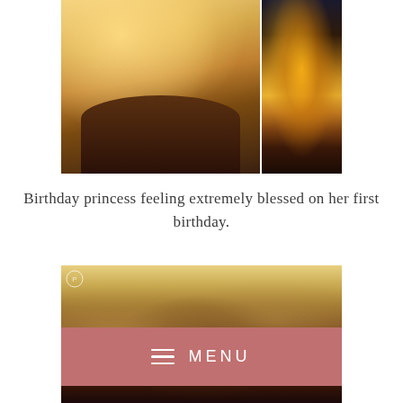[Figure (photo): Two-panel photo collage: left panel shows close-up of golden/champagne fabric (traditional Indian attire, possibly a lehenga or saree) with elaborate draping and brocade border detail; right panel shows golden decorative elements (possibly floral or torch-like decorations) against a dark background with warm amber lighting.]
Birthday princess feeling extremely blessed on her first birthday.
[Figure (photo): Group of smiling people at an event with decorative backdrop featuring Indian motifs. A man with dark hair and beard in dark clothing is visible on the left, a woman in golden/yellow outfit in the center, and another person on the right. A small circular watermark/logo is visible in the top-left corner. A rose/dusty pink MENU button overlays the lower portion.]